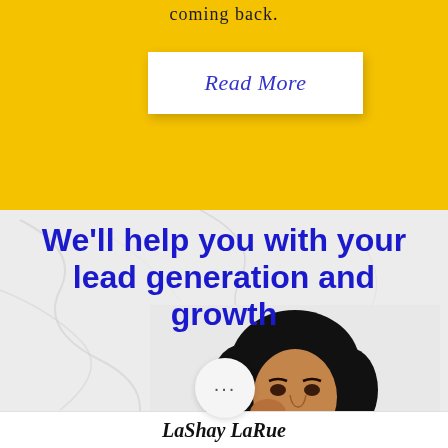coming back.
Read More
We'll help you with your lead generation and growth
[Figure (photo): Portrait photo of a woman with curly hair wearing a black top, posed on a marble background]
...
LaShay LaRue